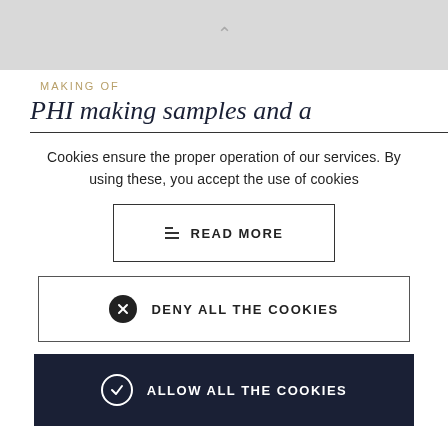[Figure (photo): A cropped grey placeholder image at the top of the page, partially showing a website page header]
MAKING OF
PHI making samples and a
Cookies ensure the proper operation of our services. By using these, you accept the use of cookies
READ MORE
DENY ALL THE COOKIES
ALLOW ALL THE COOKIES